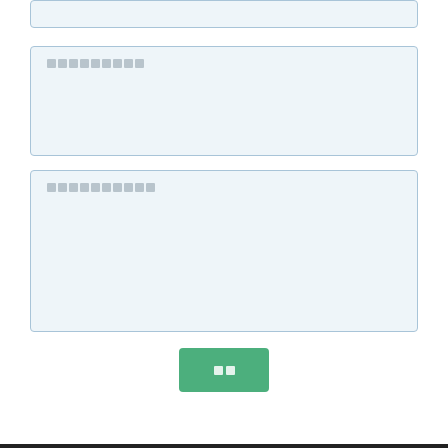[Figure (screenshot): Partial top input box (cropped at top of page)]
[Figure (screenshot): Middle input box with placeholder text blocks]
[Figure (screenshot): Large bottom input box with placeholder text blocks]
[Figure (screenshot): Green submit button with two placeholder character blocks]